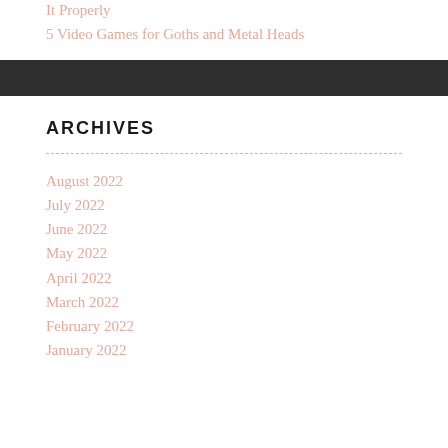It Properly
5 Video Games for Goths and Metal Heads
ARCHIVES
August 2022
July 2022
June 2022
May 2022
April 2022
March 2022
February 2022
January 2022